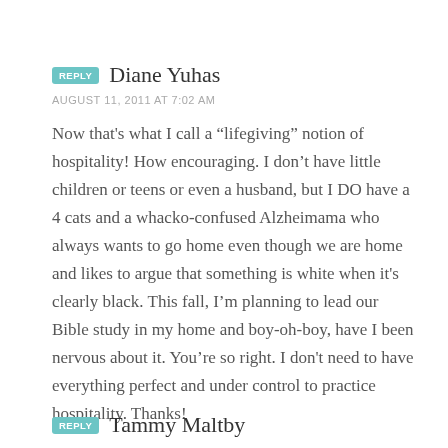REPLY Diane Yuhas
AUGUST 11, 2011 AT 7:02 AM
Now that's what I call a “lifegiving” notion of hospitality! How encouraging. I don’t have little children or teens or even a husband, but I DO have a 4 cats and a whacko-confused Alzheimama who always wants to go home even though we are home and likes to argue that something is white when it's clearly black. This fall, I’m planning to lead our Bible study in my home and boy-oh-boy, have I been nervous about it. You’re so right. I don't need to have everything perfect and under control to practice hospitality. Thanks!
REPLY Tammy Maltby